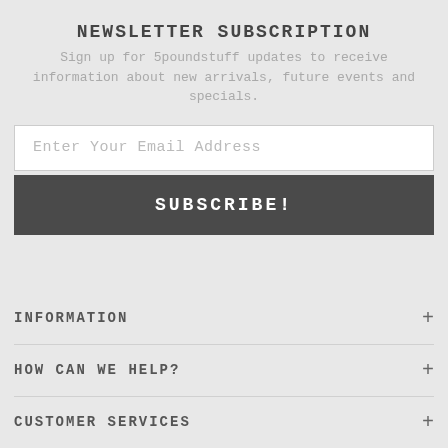NEWSLETTER SUBSCRIPTION
Sign up for 5poundstuff updates to receive information about new arrivals, future events and specials.
Enter Your Email Address
SUBSCRIBE!
INFORMATION
HOW CAN WE HELP?
CUSTOMER SERVICES